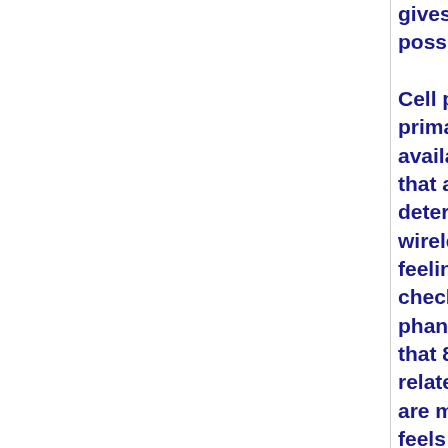gives sufficient possible danger. Cell phone over primarily and a available. This m that a cause fo determine som wireless techno feeling that the check it immed phantom pocke that 89% of tee relates to the t are more anxio feels like a real shutting off cel syndrome. When texting s a small since t